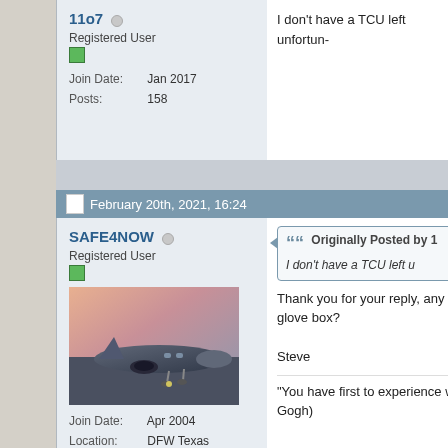11o7 — Registered User — Join Date: Jan 2017 — Posts: 158
I don't have a TCU left unfortun-
February 20th, 2021, 16:24
SAFE4NOW — Registered User — Join Date: Apr 2004 — Location: DFW Texas — Posts: 383
[Figure (photo): Private jet aircraft on tarmac at dusk with pink sky]
Originally Posted by 1
I don't have a TCU left u
Thank you for your reply, any ch glove box?

Steve
"You have first to experience wh Gogh)